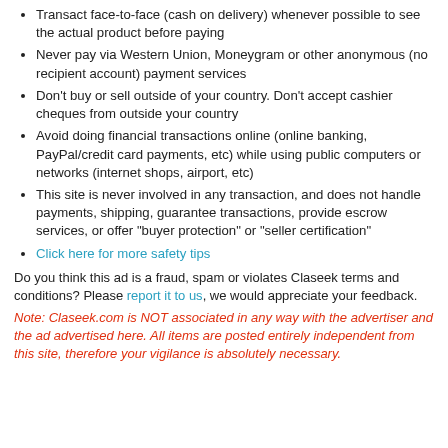Transact face-to-face (cash on delivery) whenever possible to see the actual product before paying
Never pay via Western Union, Moneygram or other anonymous (no recipient account) payment services
Don't buy or sell outside of your country. Don't accept cashier cheques from outside your country
Avoid doing financial transactions online (online banking, PayPal/credit card payments, etc) while using public computers or networks (internet shops, airport, etc)
This site is never involved in any transaction, and does not handle payments, shipping, guarantee transactions, provide escrow services, or offer "buyer protection" or "seller certification"
Click here for more safety tips
Do you think this ad is a fraud, spam or violates Claseek terms and conditions? Please report it to us, we would appreciate your feedback.
Note: Claseek.com is NOT associated in any way with the advertiser and the ad advertised here. All items are posted entirely independent from this site, therefore your vigilance is absolutely necessary.